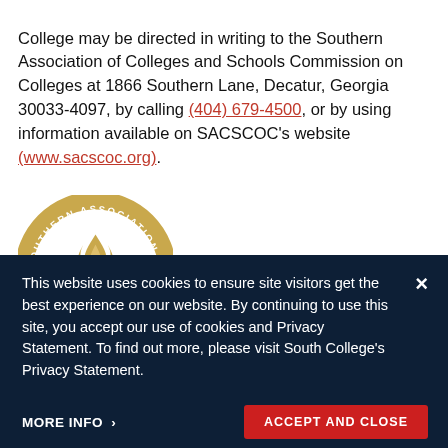College may be directed in writing to the Southern Association of Colleges and Schools Commission on Colleges at 1866 Southern Lane, Decatur, Georgia 30033-4097, by calling (404) 679-4500, or by using information available on SACSCOC's website (www.sacscoc.org).
[Figure (logo): Circular seal of the Southern Association of Colleges and Schools, gold border with text around the ring and a flame/torch emblem in the center]
This website uses cookies to ensure site visitors get the best experience on our website. By continuing to use this site, you accept our use of cookies and Privacy Statement. To find out more, please visit South College's Privacy Statement.
MORE INFO >
ACCEPT AND CLOSE